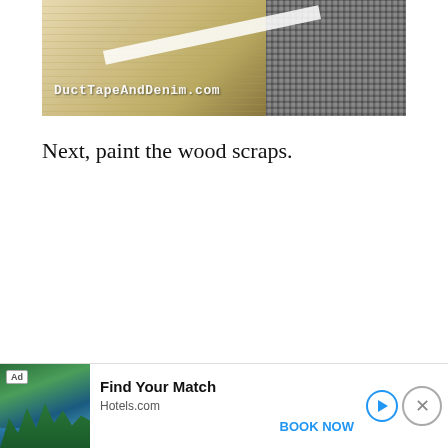[Figure (photo): Close-up photo of light wood planks with a white strip (possibly tape) and burlap/fabric texture on the right side. Watermark text reads 'DuctTapeAndDenim.com' in white monospace font at bottom left.]
Next, paint the wood scraps.
[Figure (infographic): Advertisement banner for Hotels.com showing a scenic resort image with trees and water. Includes 'Ad' badge, 'Find Your Match' headline, 'Hotels.com' subtitle, 'BOOK NOW' call-to-action in blue, a play button icon, and a close (X) button.]